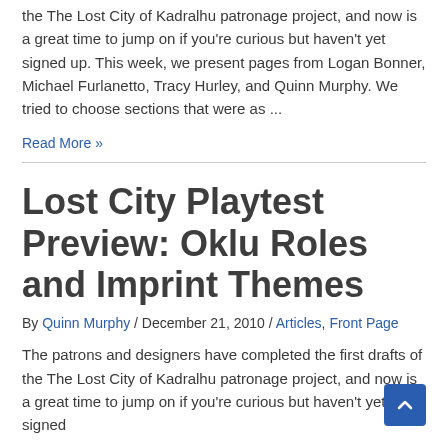the The Lost City of Kadralhu patronage project, and now is a great time to jump on if you're curious but haven't yet signed up. This week, we present pages from Logan Bonner, Michael Furlanetto, Tracy Hurley, and Quinn Murphy. We tried to choose sections that were as ...
Read More »
Lost City Playtest Preview: Oklu Roles and Imprint Themes
By Quinn Murphy / December 21, 2010 / Articles, Front Page
The patrons and designers have completed the first drafts of the The Lost City of Kadralhu patronage project, and now is a great time to jump on if you're curious but haven't yet signed